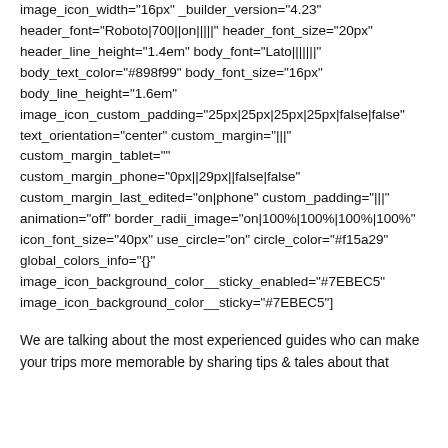image_icon_width="16px" _builder_version="4.23" header_font="Roboto|700||on|||||" header_font_size="20px" header_line_height="1.4em" body_font="Lato|||||||" body_text_color="#898f99" body_font_size="16px" body_line_height="1.6em" image_icon_custom_padding="25px|25px|25px|25px|false|false" text_orientation="center" custom_margin="|||" custom_margin_tablet="" custom_margin_phone="0px||29px||false|false" custom_margin_last_edited="on|phone" custom_padding="|||" animation="off" border_radii_image="on|100%|100%|100%|100%" icon_font_size="40px" use_circle="on" circle_color="#f15a29" global_colors_info="{}" image_icon_background_color__sticky_enabled="#7EBEC5" image_icon_background_color__sticky="#7EBEC5"]
We are talking about the most experienced guides who can make your trips more memorable by sharing tips & tales about that